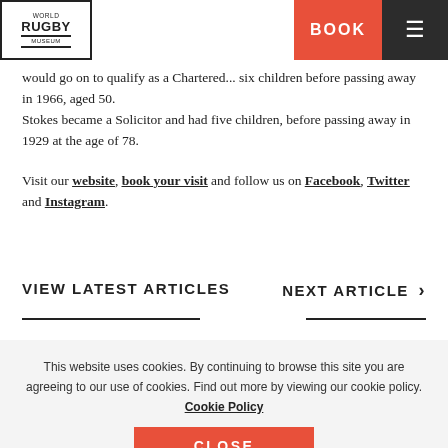World Rugby Museum | BOOK
would go on to qualify as a Chartered... six children before passing away in 1966, aged 50. Stokes became a Solicitor and had five children, before passing away in 1929 at the age of 78.
Visit our website, book your visit and follow us on Facebook, Twitter and Instagram.
VIEW LATEST ARTICLES
NEXT ARTICLE >
This website uses cookies. By continuing to browse this site you are agreeing to our use of cookies. Find out more by viewing our cookie policy. Cookie Policy
CLOSE